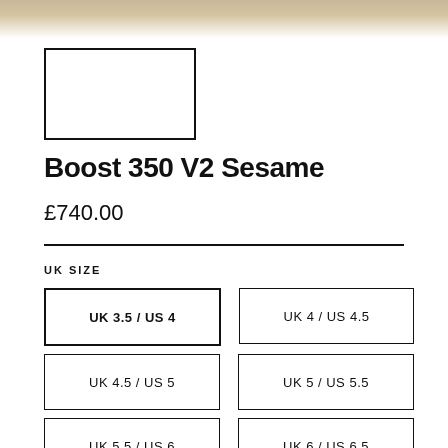[Figure (photo): Partial view of a shoe (Yeezy Boost 350 V2 Sesame) at the top of the page, cropped]
[Figure (photo): Small thumbnail image box with black border, empty/white interior]
Boost 350 V2 Sesame
£740.00
UK SIZE
UK 3.5 / US 4 (selected)
UK 4 / US 4.5
UK 4.5 / US 5
UK 5 / US 5.5
UK 5.5 / US 6
UK 6 / US 6.5
UK 6.5/ US 7
UK 7 / US 7.5